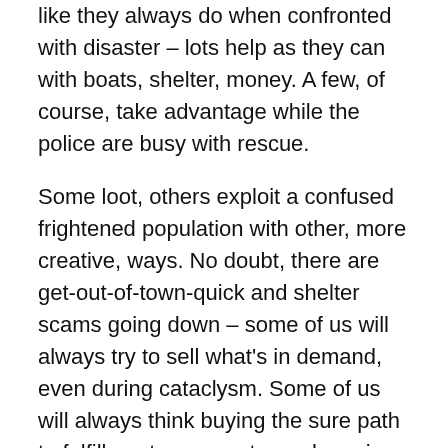like they always do when confronted with disaster – lots help as they can with boats, shelter, money. A few, of course, take advantage while the police are busy with rescue.
Some loot, others exploit a confused frightened population with other, more creative, ways. No doubt, there are get-out-of-town-quick and shelter scams going down – some of us will always try to sell what's in demand, even during cataclysm. Some of us will always think buying the sure path to fulfillment, so a customer base is assured. So it goes.
Now, the Donald, always on the lookout for new ways to promote the Donald, saw hurricane landfall differently than the rest of us. While we saw cold wet disaster, Trump envisioned a huge media tidal wave, hopped on board,